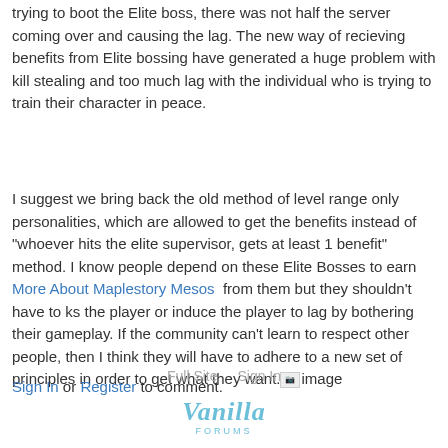trying to boot the Elite boss, there was not half the server coming over and causing the lag. The new way of recieving benefits from Elite bossing have generated a huge problem with kill stealing and too much lag with the individual who is trying to train their character in peace.
I suggest we bring back the old method of level range only personalities, which are allowed to get the benefits instead of "whoever hits the elite supervisor, gets at least 1 benefit" method. I know people depend on these Elite Bosses to earn More About Maplestory Mesos  from them but they shouldn't have to ks the player or induce the player to lag by bothering their gameplay. If the community can't learn to respect other people, then I think they will have to adhere to a new set of principles in order to get what they want.[image]
Sign In or Register to comment.
[Figure (logo): Vanilla Forums logo in light blue cursive text]